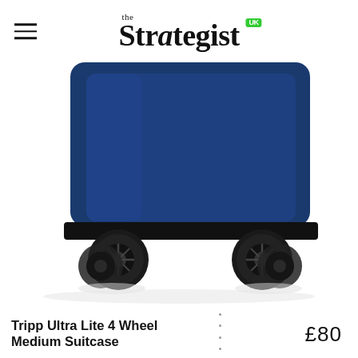the Strategist UK
[Figure (photo): Close-up photograph of the bottom portion of a navy blue soft-shell suitcase showing four black spinner wheels on a white background.]
Tripp Ultra Lite 4 Wheel Medium Suitcase
£80